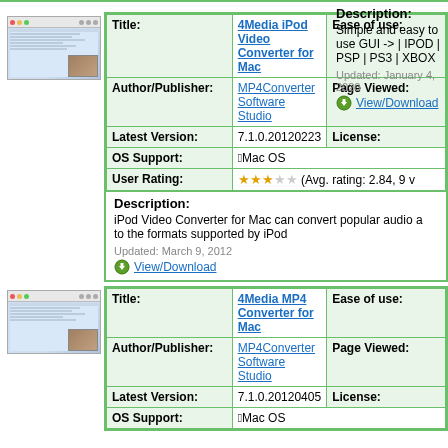Description: Simple and easy to use GUI -> | IPOD | PSP | PS3 | XBOX
Updated: January 4, 2020
View/Download
| Title: | 4Media iPod Video Converter for Mac | Ease of use: |
| --- | --- | --- |
| Author/Publisher: | MP4Converter Software Studio | Page Viewed: |
| Latest Version: | 7.1.0.20120223 | License: |
| OS Support: | Mac OS |  |
| User Rating: | ☆☆☆☆☆ (Avg. rating: 2.84, 9 v |  |
Description: iPod Video Converter for Mac can convert popular audio a to the formats supported by iPod
Updated: March 9, 2012
View/Download
| Title: | 4Media MP4 Converter for Mac | Ease of use: |
| --- | --- | --- |
| Author/Publisher: | MP4Converter Software Studio | Page Viewed: |
| Latest Version: | 7.1.0.20120405 | License: |
| OS Support: | Mac OS |  |